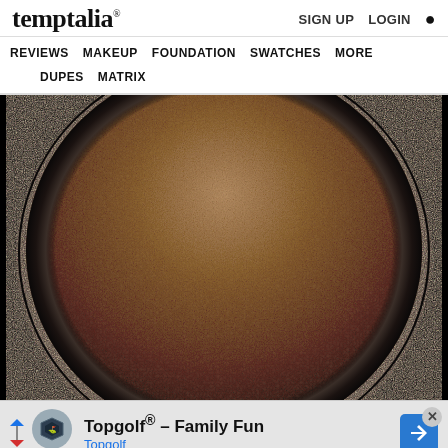temptalia® SIGN UP LOGIN 🔍
REVIEWS MAKEUP FOUNDATION SWATCHES MORE DUPES MATRIX
[Figure (photo): Close-up macro photograph of a round bronze/brown taupe shimmer eyeshadow pan in a black compact, showing the pressed powder texture with a slight shimmer/metallic finish against a black background.]
Topgolf® - Family Fun Topgolf